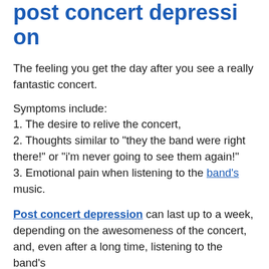post concert depression
The feeling you get the day after you see a really fantastic concert.
Symptoms include:
1. The desire to relive the concert,
2. Thoughts similar to "they the band were right there!" or "i'm never going to see them again!"
3. Emotional pain when listening to the band's music.
Post concert depression can last up to a week, depending on the awesomeness of the concert, and, even after a long time, listening to the band's